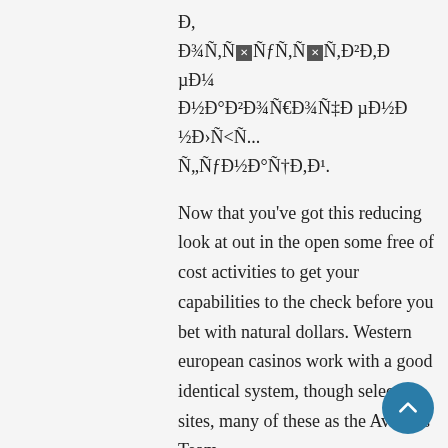Đ,
Đ¾Ñ,Ñ🔲ÑƒÑ,Ñ🔲Ñ,Đ²Đ,Đ µĐ¼
Đ½Đ°Đ²Đ¾Ñ€Đ¾Ñ‡Đ µĐ½Đ½Đ›Ñ<Ñ...
Ñ„ÑƒĐ½Đ°Ñ†Đ,Đ¹.
Now that you've got this reducing look at out in the open some free of cost activities to get your capabilities to the check before you bet with natural dollars. Western european casinos work with a good identical system, though selected sites, many of these as the Aviators Team